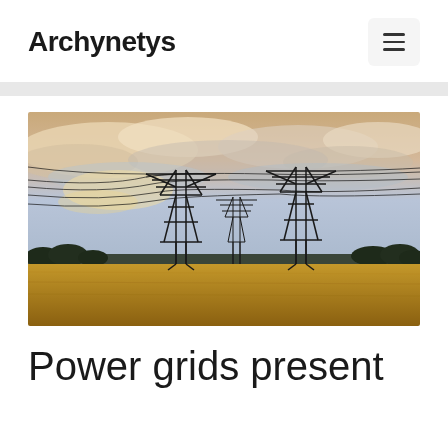Archynetys
[Figure (photo): Photograph of multiple high-voltage electricity transmission pylons/towers in an open field with golden wheat/grass, against a dramatic sky with warm clouds at dusk or dawn.]
Power grids present